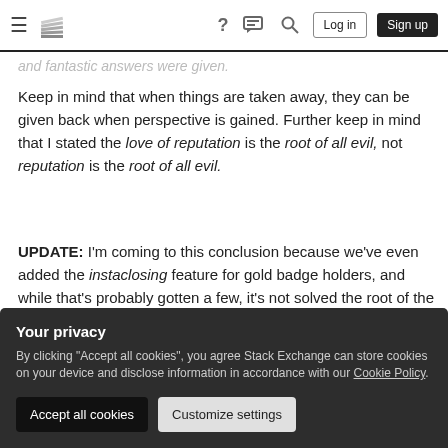Stack Exchange navigation bar with hamburger menu, logo, help icon, chat icon, search icon, Log in button, Sign up button
and fantastic answers were given.
Keep in mind that when things are taken away, they can be given back when perspective is gained. Further keep in mind that I stated the love of reputation is the root of all evil, not reputation is the root of all evil.
UPDATE: I'm coming to this conclusion because we've even added the instaclosing feature for gold badge holders, and while that's probably gotten a few, it's not solved the root of the problem. The root
Your privacy
By clicking "Accept all cookies", you agree Stack Exchange can store cookies on your device and disclose information in accordance with our Cookie Policy.
Accept all cookies
Customize settings